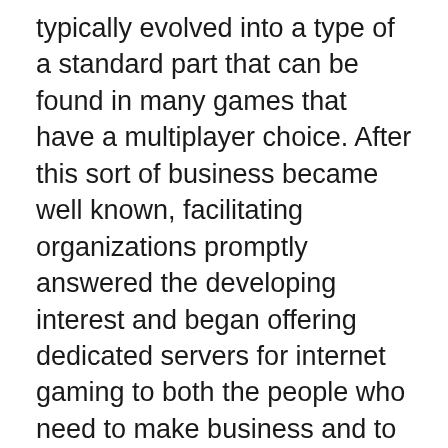typically evolved into a type of a standard part that can be found in many games that have a multiplayer choice. After this sort of business became well known, facilitating organizations promptly answered the developing interest and began offering dedicated servers for internet gaming to both the people who need to make business and to the individuals who are just excited. By and large, game server facilitation takes care of two principle gatherings of web based games – those accessible from the fundamental server, and those that work through a progression of disseminated ones.
Brought together servers are for the most part frequently used to have games that